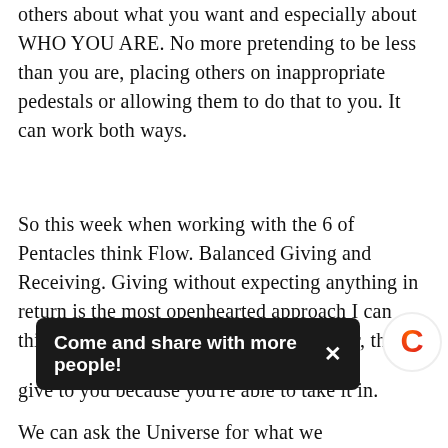others about what you want and especially about WHO YOU ARE. No more pretending to be less than you are, placing others on inappropriate pedestals or allowing them to do that to you. It can work both ways.
So this week when working with the 6 of Pentacles think Flow. Balanced Giving and Receiving. Giving without expecting anything in return is the most openhearted approach I can think of and the most feel-good. However, think [about what others] give to you because you're able to take it in.
We can ask the Universe for what we need and we should, but...
[Figure (screenshot): Toast notification bar reading 'Come and share with more people!' with an X close button, overlaid on text content. To the right is a circular logo with a red/orange gradient C letter on white background.]